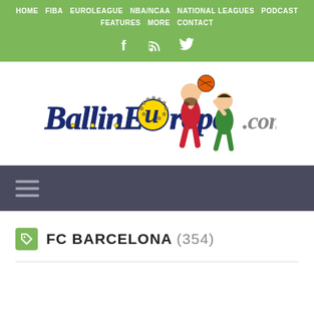HOME  FIBA  EUROLEAGUE  NBA/NCAA  NATIONAL LEAGUES  PODCAST  FEATURES  MORE  CONTACT
[Figure (logo): BallinEurope.com logo with cartoon basketball players]
FC BARCELONA (354)